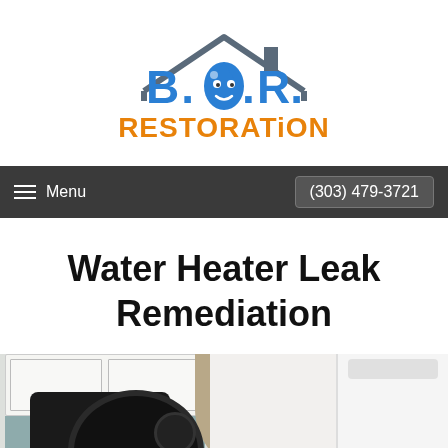[Figure (logo): B.O.R. Restoration company logo: blue and orange letters B, O (water drop character), R with a gray house/roof outline above, and 'RESTORATION' in orange below]
Menu  (303) 479-3721
Water Heater Leak Remediation
[Figure (photo): Indoor restoration scene showing a kitchen with white cabinets, teal backsplash, and a large black industrial fan/air mover on the floor next to what appears to be a white water heater or appliance]